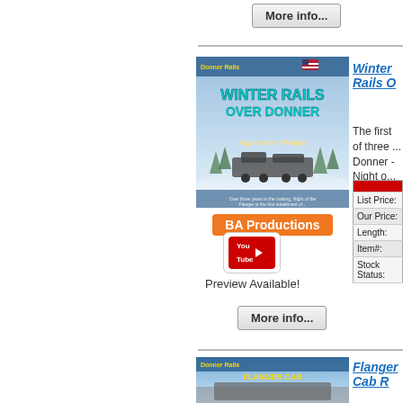[Figure (other): More info button at top of page]
[Figure (photo): Winter Rails Over Donner DVD cover - Night of the Flanger, showing a train in snowy winter conditions]
Winter Rails O...
The first of three ... Donner - Night o...
|  |
| --- |
| List Price: |
| Our Price: |
| Length: |
| Item#: |
| Stock Status: |
[Figure (logo): BA Productions orange badge/logo]
[Figure (logo): YouTube button/logo for preview]
Preview Available!
[Figure (other): More info button at bottom of page]
[Figure (photo): Flanger Cab Ride DVD cover - Donner Rails]
Flanger Cab R...